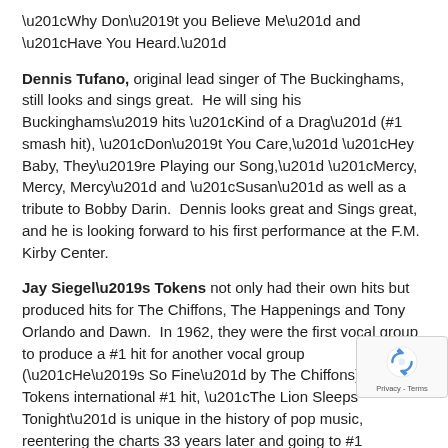“Why Don’t you Believe Me” and “Have You Heard.”
Dennis Tufano, original lead singer of The Buckinghams, still looks and sings great. He will sing his Buckinghams’ hits “Kind of a Drag” (#1 smash hit), “Don’t You Care,” “Hey Baby, They’re Playing our Song,” “Mercy, Mercy, Mercy” and “Susan” as well as a tribute to Bobby Darin. Dennis looks great and Sings great, and he is looking forward to his first performance at the F.M. Kirby Center.
Jay Siegel’s Tokens not only had their own hits but produced hits for The Chiffons, The Happenings and Tony Orlando and Dawn. In 1962, they were the first vocal group to produce a #1 hit for another vocal group (“He’s So Fine” by The Chiffons). The Tokens international #1 hit, “The Lion Sleeps Tonight” is unique in the history of pop music, reentering the charts 33 years later and going to #1 worldwide again stoked by its use in “The Lion King” movie. Jay Siegel continues to be blessed with his strong tenor voice and soaring falsetto.
The Capris, with original member Frank Reina and incredible lead singer Michael d’Amore, come back to